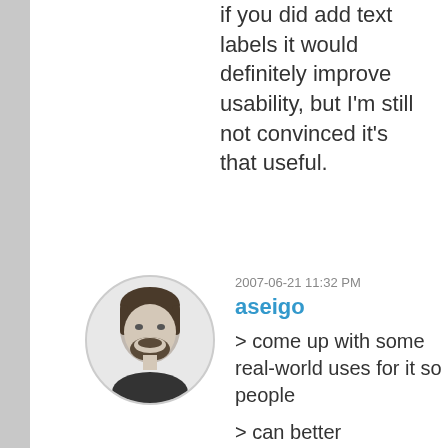if you did add text labels it would definitely improve usability, but I'm still not convinced it's that useful.
2007-06-21 11:32 PM
aseigo
[Figure (photo): Circular avatar photo of a man with dark hair and beard, black and white photo]
> come up with some real-world uses for it so people

> can better understand why it exists and what

> problem it solves

because ruphy, in his enthusiasm, wanted to show it off immediately after he got the